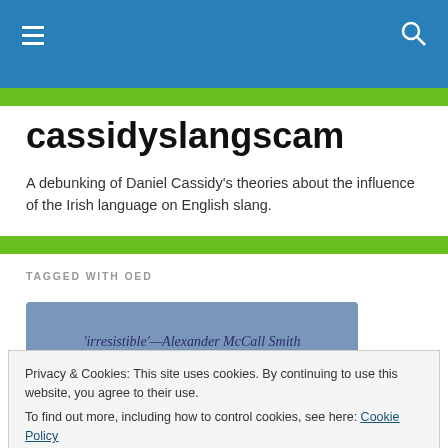cassidyslangscam navigation bar
cassidyslangscam
A debunking of Daniel Cassidy's theories about the influence of the Irish language on English slang.
TAGGED WITH OED
[Figure (other): Book promotional banner with quote: 'irresistible'—Alexander McCall Smith on a blue-grey background]
Privacy & Cookies: This site uses cookies. By continuing to use this website, you agree to their use. To find out more, including how to control cookies, see here: Cookie Policy
Close and accept